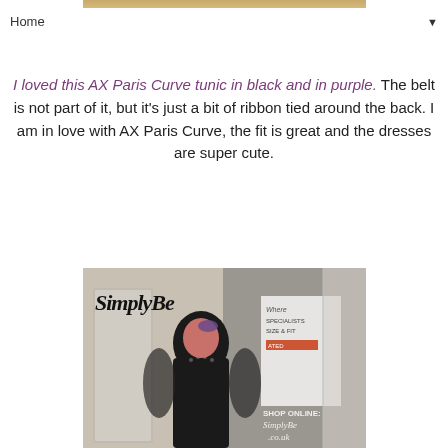[Figure (photo): Top portion of a photo showing what appears to be an event or fashion display, partially cropped at top of page]
Home ▼
I loved this AX Paris Curve tunic in black and in purple. The belt is not part of it, but it's just a bit of ribbon tied around the back. I am in love with AX Paris Curve, the fit is great and the dresses are super cute.
[Figure (photo): Photo of a woman wearing a black top with embellished neckline and sheer sleeves at a Simply Be fashion event. The Simply Be logo is overlaid on the top portion of the image, and Simply Be branding/signage is visible in the background.]